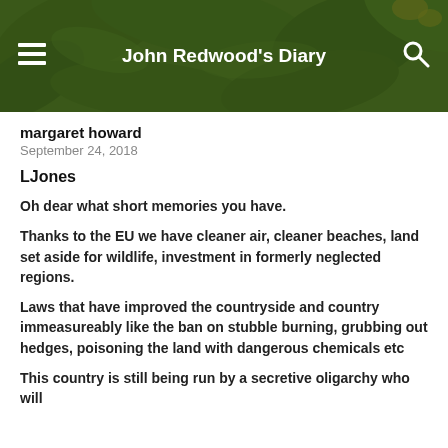[Figure (screenshot): Header banner for John Redwood's Diary blog with green plant/leaf background, hamburger menu icon on left, search icon on right, and site title centered in white bold text]
margaret howard
September 24, 2018
LJones
Oh dear what short memories you have.
Thanks to the EU we have cleaner air, cleaner beaches, land set aside for wildlife, investment in formerly neglected regions.
Laws that have improved the countryside and country immeasureably like the ban on stubble burning, grubbing out hedges, poisoning the land with dangerous chemicals etc
This country is still being run by a secretive oligarchy who will